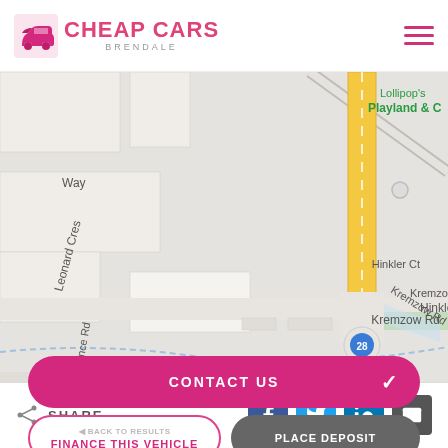[Figure (logo): Cheap Cars Brendale logo with pink car icon and pink text]
[Figure (map): Street map showing Kremzow Rd, Leonard Cres, Terrence Rd, Hinkler Ct intersections near Brendale. Lollipop's Playland & C visible top right. Route 28 marker shown.]
SHARE
[Figure (infographic): Social share icons: Facebook, Twitter, LinkedIn, Email]
CONTACT US
FINANCE THIS VEHICLE
PLACE DEPOSIT